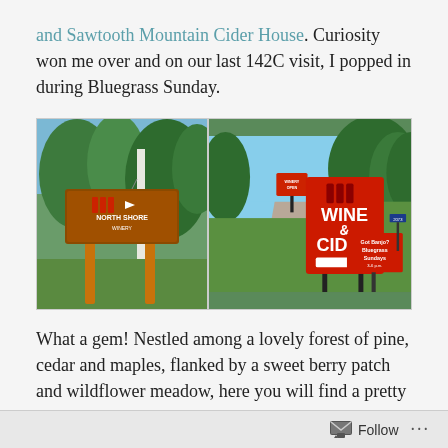and Sawtooth Mountain Cider House. Curiosity won me over and on our last 142C visit, I popped in during Bluegrass Sunday.
[Figure (photo): Two outdoor photos side by side: left photo shows a North Shore Wine entrance sign on wooden posts surrounded by trees; right photo shows red roadside signs reading 'WINE & CIDER' with an arrow and 'Got Banjo? Bluegrass Sundays' on green grass with a road and tree-lined background.]
What a gem! Nestled among a lovely forest of pine, cedar and maples, flanked by a sweet berry patch and wildflower meadow, here you will find a pretty nice slice of North Shore paradise with a Superior
Follow ...